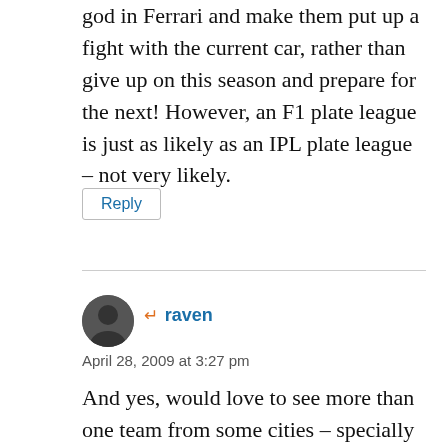god in Ferrari and make them put up a fight with the current car, rather than give up on this season and prepare for the next! However, an F1 plate league is just as likely as an IPL plate league – not very likely.
Reply
[Figure (illustration): Circular avatar with silhouette of a person against dark background]
raven
April 28, 2009 at 3:27 pm
And yes, would love to see more than one team from some cities – specially the bigger ones like Delhi, Mumbai and Kolkata 🙂